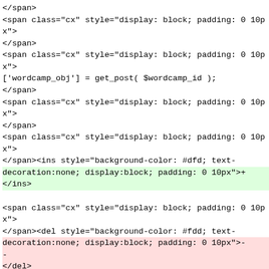</span>
<span class="cx" style="display: block; padding: 0 10px">
</span>
<span class="cx" style="display: block; padding: 0 10px">
['wordcamp_obj'] = get_post( $wordcamp_id );
</span>
<span class="cx" style="display: block; padding: 0 10px">
</span>
<span class="cx" style="display: block; padding: 0 10px">
</span><ins style="background-color: #dfd; text-decoration:none; display:block; padding: 0 10px">+
</ins>
<span class="cx" style="display: block; padding: 0 10px">
</span><del style="background-color: #fdd; text-decoration:none; display:block; padding: 0 10px">-
-
</del>
<span class="cx" style="display: block; padding: 0 10px">
</span>
<span class="cx" style="display: block; padding: 0 10px">
[] = 'Stripe token not found.';
</span>
<span class="cx" style="display: block; padding: 0 10px">
</span>
<span class="lines" style="display: block; padding: 0 10p
</span>
<span class="cx" style="display: block; padding: 0 10px">
</span>
<span class="cx" style="display: block; padding: 0 10px">
</span>